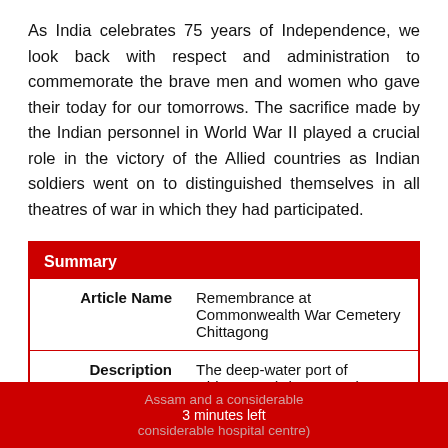As India celebrates 75 years of Independence, we look back with respect and administration to commemorate the brave men and women who gave their today for our tomorrows. The sacrifice made by the Indian personnel in World War II played a crucial role in the victory of the Allied countries as Indian soldiers went on to distinguished themselves in all theatres of war in which they had participated.
|  |  |
| --- | --- |
| Summary |  |
| Article Name | Remembrance at Commonwealth War Cemetery Chittagong |
| Description | The deep-water port of Chittagong (Chattogram) was both an advanced base for Assam and a considerable hospital centre) |
3 minutes left